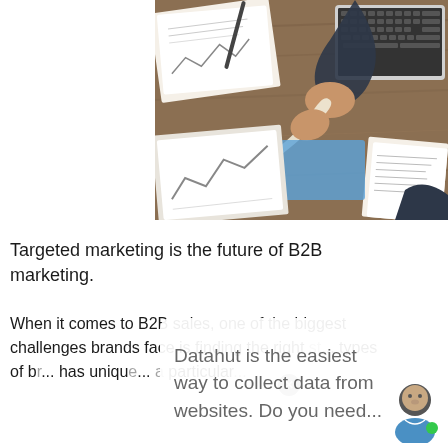[Figure (photo): Overhead view of business handshake over a desk with documents, papers, and a laptop. Two people shaking hands from opposite sides of a wooden table covered in charts, documents and printed materials.]
Targeted marketing is the future of B2B marketing.
When it comes to B2B sales, one of the biggest challenges brands face is finding the right sto... types of b... has uniqu... a particular...
Datahut is the easiest way to collect data from websites. Do you need...